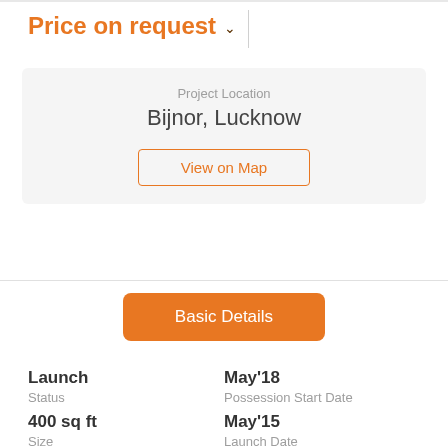Price on request
Project Location
Bijnor, Lucknow
View on Map
Basic Details
Launch
Status
May'18
Possession Start Date
400 sq ft
Size
May'15
Launch Date